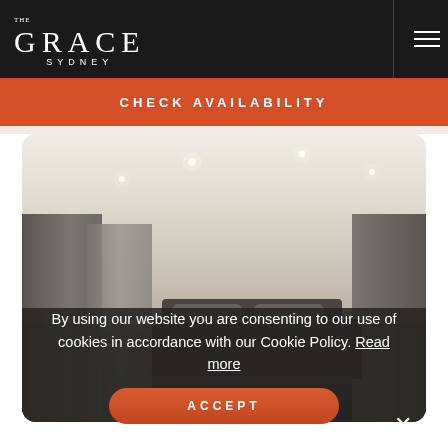THE GRACE SYDNEY
CHECK AVAILABILITY
[Figure (photo): Hotel room interior showing a modern room with white ceiling, recessed spotlights, sheer curtains, a bed and dark wood flooring]
By using our website you are consenting to our use of cookies in accordance with our Cookie Policy. Read more
ACCEPT